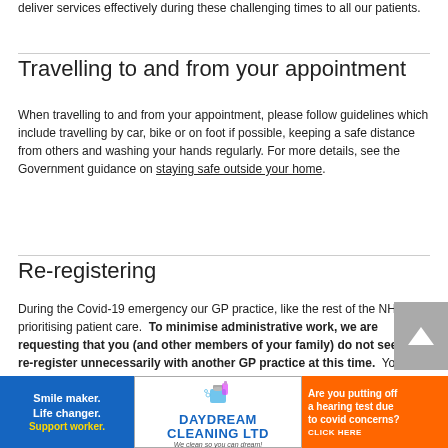deliver services effectively during these challenging times to all our patients.
Travelling to and from your appointment
When travelling to and from your appointment, please follow guidelines which include travelling by car, bike or on foot if possible, keeping a safe distance from others and washing your hands regularly. For more details, see the Government guidance on staying safe outside your home.
Re-registering
During the Covid-19 emergency our GP practice, like the rest of the NHS, is prioritising patient care.  To minimise administrative work, we are requesting that you (and other members of your family) do not seek to re-register unnecessarily with another GP practice at this time.  You
[Figure (other): Advertisement banner: blue background with text 'Smile maker. Life changer. Support worker.' in white and yellow]
[Figure (logo): Advertisement: Daydream Cleaning Ltd logo with cleaning supplies illustration]
[Figure (other): Advertisement: Orange background with text 'Are you putting off a hearing test due to covid concerns? CLICK HERE']